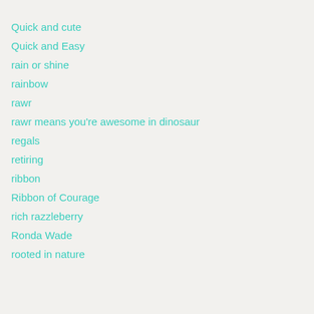Quick and cute
Quick and Easy
rain or shine
rainbow
rawr
rawr means you're awesome in dinosaur
regals
retiring
ribbon
Ribbon of Courage
rich razzleberry
Ronda Wade
rooted in nature